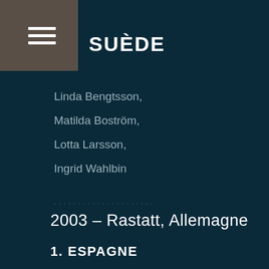≡
SUÈDE
Linda Bengtsson,
Matilda Boström,
Lotta Larsson,
Ingrid Wahlbin
2003 – Rastatt, Allemagne
1. ESPAGNE
María-José Pérez,
Jerónima Ballesta,
María-José Díaz,
Yolanda Matarranz
2. FRANCE